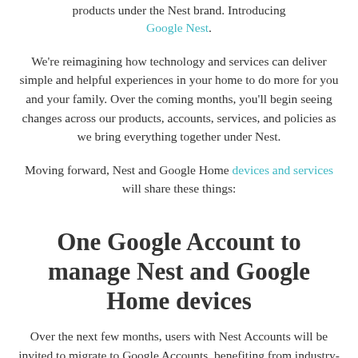products under the Nest brand. Introducing Google Nest.
We're reimagining how technology and services can deliver simple and helpful experiences in your home to do more for you and your family. Over the coming months, you'll begin seeing changes across our products, accounts, services, and policies as we bring everything together under Nest.
Moving forward, Nest and Google Home devices and services will share these things:
One Google Account to manage Nest and Google Home devices
Over the next few months, users with Nest Accounts will be invited to migrate to Google Accounts, benefiting from industry-leading protections and a single account across the Nest and Google Home apps, and all of Google's other products. It also means Nest and Google